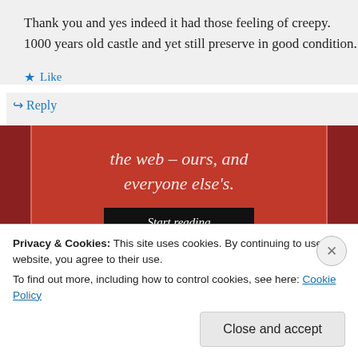Thank you and yes indeed it had those feeling of creepy. 1000 years old castle and yet still preserve in good condition.
★ Like
↳ Reply
[Figure (screenshot): Red advertisement banner with italic white text reading 'the web – ours, and everyone else's.' and a dark 'Start reading' button]
Privacy & Cookies: This site uses cookies. By continuing to use this website, you agree to their use.
To find out more, including how to control cookies, see here: Cookie Policy
Close and accept